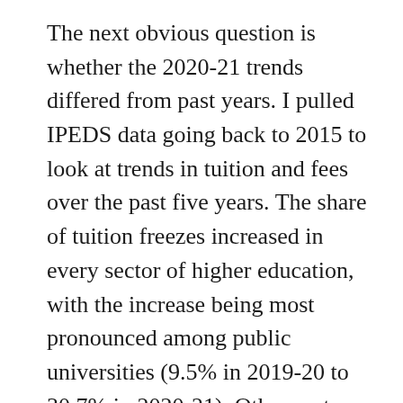The next obvious question is whether the 2020-21 trends differed from past years. I pulled IPEDS data going back to 2015 to look at trends in tuition and fees over the past five years. The share of tuition freezes increased in every sector of higher education, with the increase being most pronounced among public universities (9.5% in 2019-20 to 30.7% in 2020-21). Other sectors had smaller increases, although around one-third of community colleges and for-profit institutions had no changes in tuition and fees in prior years. The only sector with a large increase in tuition and fee cuts was public universities, with a jump from 5.1% to 13.1% between 2019-20 and 2020-21.